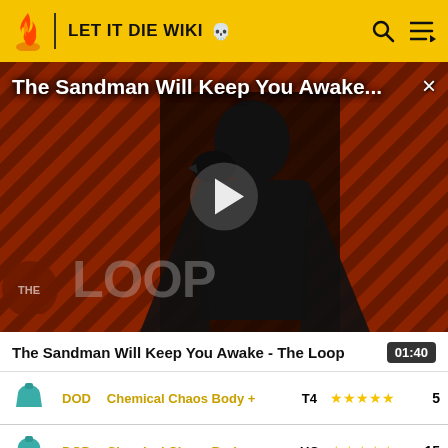LET IT DIE WIKI
[Figure (screenshot): Video thumbnail for 'The Sandman Will Keep You Awake - The Loop' with a dark diagonal striped background (red-brown and black), a figure in black, and THE LOOP logo at bottom left. A play button triangle is centered.]
The Sandman Will Keep You Awake - The Loop
| Icon | Label | Item Name | Tier | Stars | Count |
| --- | --- | --- | --- | --- | --- |
| [shirt icon] | DOD | Chemical Chaos Body + | T4 | ★★★★★ | 5 |
| [shirt icon] | DOD | Chemical Chaos Body + | UC | ★★★★★ | 15 |
| [shirt icon] | DOD | Battle Trucker Apron + | UC | ★★★★ | 15 |